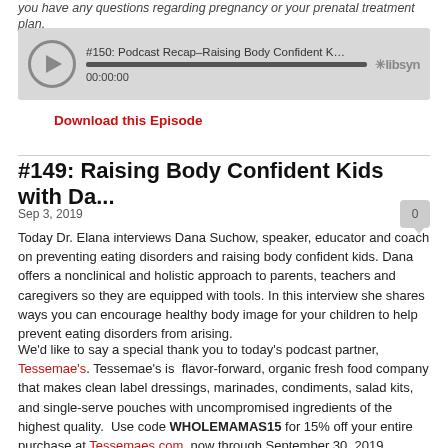you have any questions regarding pregnancy or your prenatal treatment plan.
[Figure (other): Podcast player widget showing episode #150: Podcast Recap–Raising Body Confident Kids with D... with a play button, progress bar, 00:00:00 timestamp, and libsyn logo]
Download this Episode
#149: Raising Body Confident Kids with Da...
Sep 3, 2019
Today Dr. Elana interviews Dana Suchow, speaker, educator and coach on preventing eating disorders and raising body confident kids. Dana offers a nonclinical and holistic approach to parents, teachers and caregivers so they are equipped with tools. In this interview she shares ways you can encourage healthy body image for your children to help prevent eating disorders from arising.
We'd like to say a special thank you to today's podcast partner, Tessemae's. Tessemae's is  flavor-forward, organic fresh food company that makes clean label dressings, marinades, condiments, salad kits, and single-serve pouches with uncompromised ingredients of the highest quality.  Use code WHOLEMAMAS15 for 15% off your entire purchase at Tessemaes.com, now through September 30, 2019.
To be discussed... [partial text cut off]